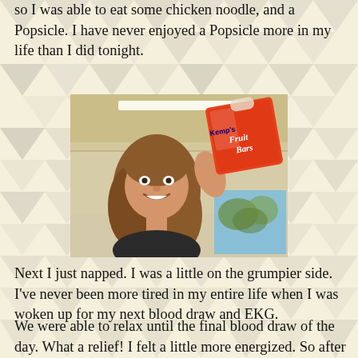so I was able to eat some chicken noodle, and a Popsicle. I have never enjoyed a Popsicle more in my life than I did tonight.
[Figure (photo): Person smiling and holding a box of Kemp's Fruit Bars popsicles in what appears to be a hospital or clinic room]
Next I just napped. I was a little on the grumpier side. I've never been more tired in my entire life when I was woken up for my next blood draw and EKG.
We were able to relax until the final blood draw of the day. What a relief! I felt a little more energized. So after about 12 hours in the clinic, we went to the grocery store (my idea).